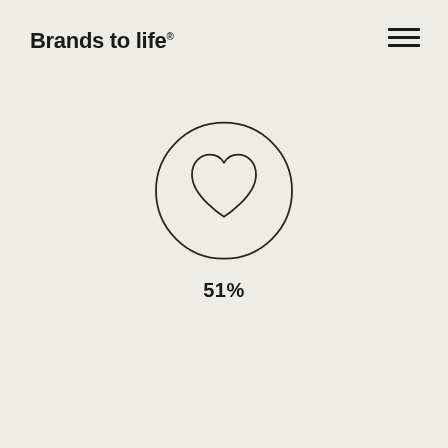Brands to life
[Figure (illustration): Circle with a heart icon inside, and the text '51%' below it]
51%